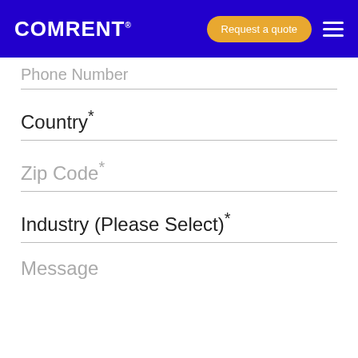COMRENT®
Phone Number
Country*
Zip Code*
Industry (Please Select)*
Message